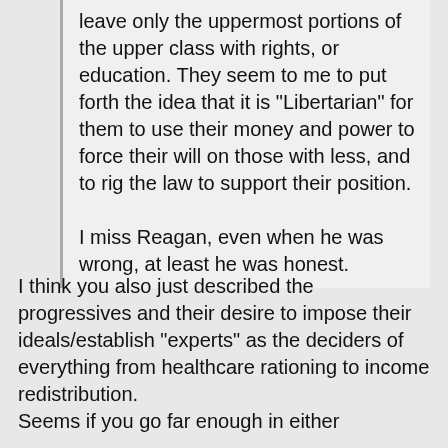leave only the uppermost portions of the upper class with rights, or education. They seem to me to put forth the idea that it is "Libertarian" for them to use their money and power to force their will on those with less, and to rig the law to support their position.

I miss Reagan, even when he was wrong, at least he was honest.
I think you also just described the progressives and their desire to impose their ideals/establish "experts" as the deciders of everything from healthcare rationing to income redistribution.
Seems if you go far enough in either